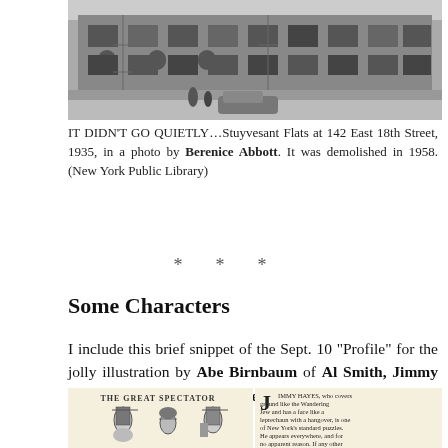[Figure (photo): Black and white photograph of Stuyvesant Flats at 142 East 18th Street, a multi-story brick building, taken in 1935 by Berenice Abbott.]
IT DIDN’T GO QUIETLY…Stuyvesant Flats at 142 East 18th Street, 1935, in a photo by Berenice Abbott. It was demolished in 1958. (New York Public Library)
* * *
Some Characters
I include this brief snippet of the Sept. 10 “Profile” for the jolly illustration by Abe Birnbaum of Al Smith, Jimmy Hayes and the Prince of Wales…
[Figure (illustration): Two-panel illustration: left panel shows cartoon caricatures titled 'THE GREAT SPECTATOR'; right panel shows text beginning with a drop capital J reading about Jimmy Hayes.]